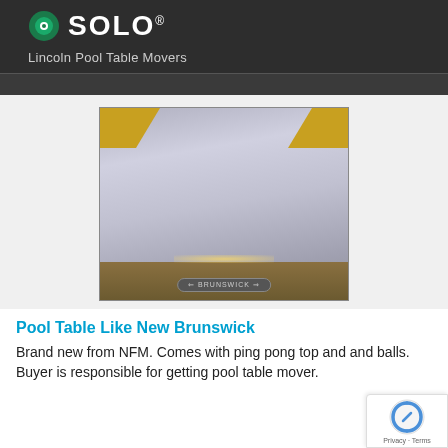[Figure (logo): SOLO logo with green circular icon and white text on dark background]
Lincoln Pool Table Movers
[Figure (photo): Photo of a Brunswick pool table with gray/blue felt, visible rail sides, wood frame bottom with Brunswick logo badge, and ambient lighting]
Pool Table Like New Brunswick
Brand new from NFM. Comes with ping pong top and and balls. Buyer is responsible for getting pool table mover.